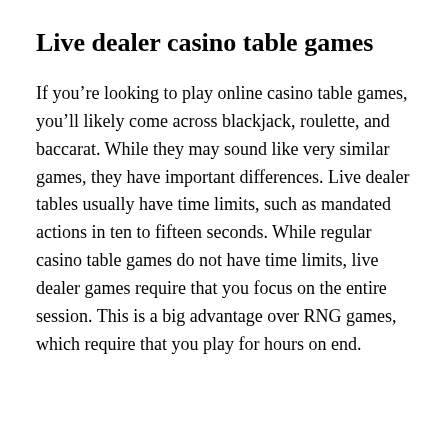Live dealer casino table games
If you’re looking to play online casino table games, you’ll likely come across blackjack, roulette, and baccarat. While they may sound like very similar games, they have important differences. Live dealer tables usually have time limits, such as mandated actions in ten to fifteen seconds. While regular casino table games do not have time limits, live dealer games require that you focus on the entire session. This is a big advantage over RNG games, which require that you play for hours on end.